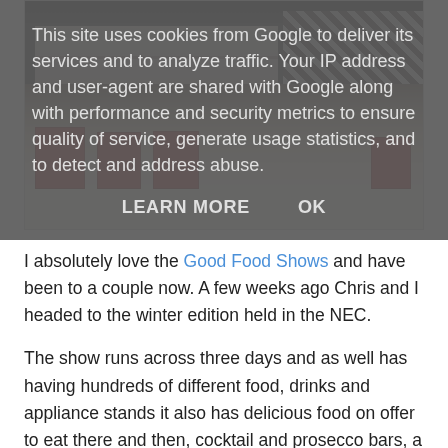This site uses cookies from Google to deliver its services and to analyze traffic. Your IP address and user-agent are shared with Google along with performance and security metrics to ensure quality of service, generate usage statistics, and to detect and address abuse.
LEARN MORE    OK
[Figure (photo): A table with red books/magazines laid out, and a person in a plaid/checkered shirt visible on the right side. The image appears to be from a food show or exhibition.]
I absolutely love the Good Food Shows and have been to a couple now. A few weeks ago Chris and I headed to the winter edition held in the NEC.
The show runs across three days and as well has having hundreds of different food, drinks and appliance stands it also has delicious food on offer to eat there and then, cocktail and prosecco bars, a restaurant and a host of shows with celebrity chefs.